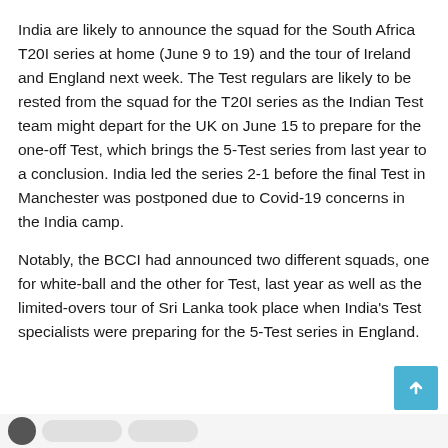India are likely to announce the squad for the South Africa T20I series at home (June 9 to 19) and the tour of Ireland and England next week. The Test regulars are likely to be rested from the squad for the T20I series as the Indian Test team might depart for the UK on June 15 to prepare for the one-off Test, which brings the 5-Test series from last year to a conclusion. India led the series 2-1 before the final Test in Manchester was postponed due to Covid-19 concerns in the India camp.
Notably, the BCCI had announced two different squads, one for white-ball and the other for Test, last year as well as the limited-overs tour of Sri Lanka took place when India's Test specialists were preparing for the 5-Test series in England.